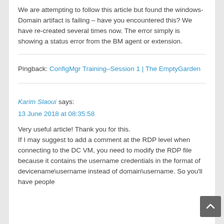We are attempting to follow this article but found the windows-Domain artifact is failing – have you encountered this? We have re-created several times now. The error simply is showing a status error from the BM agent or extension.
Pingback: ConfigMgr Training–Session 1 | The EmptyGarden
Karim Slaoui says: 13 June 2018 at 08:35:58
Very useful article! Thank you for this. If I may suggest to add a comment at the RDP level when connecting to the DC VM, you need to modify the RDP file because it contains the username credentials in the format of devicename\username instead of domain\username. So you'll have people